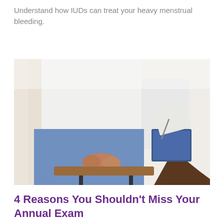Understand how IUDs can treat your heavy menstrual bleeding.
[Figure (photo): A patient sitting across from a doctor or medical professional who is writing on a clipboard. The patient is wearing jeans and a white shirt with hands clasped together. The medical professional is in a white coat holding a pen and clipboard.]
4 Reasons You Shouldn't Miss Your Annual Exam